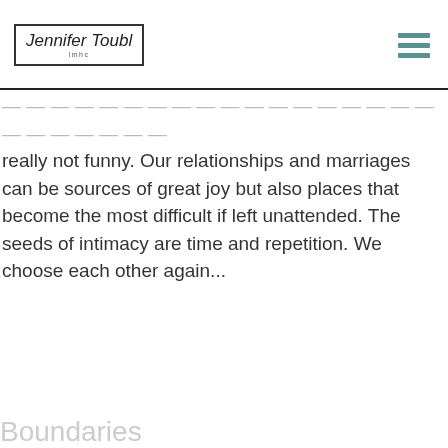Jennifer Toubl — logo header with hamburger menu
really not funny. Our relationships and marriages can be sources of great joy but also places that become the most difficult if left unattended. The seeds of intimacy are time and repetition. We choose each other again...
Read More
Boundaries